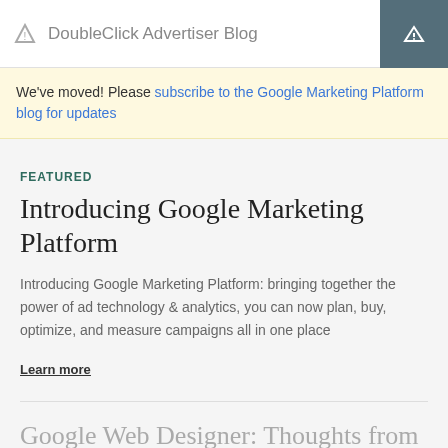DoubleClick Advertiser Blog
We've moved! Please subscribe to the Google Marketing Platform blog for updates
FEATURED
Introducing Google Marketing Platform
Introducing Google Marketing Platform: bringing together the power of ad technology & analytics, you can now plan, buy, optimize, and measure campaigns all in one place
Learn more
Google Web Designer: Thoughts from